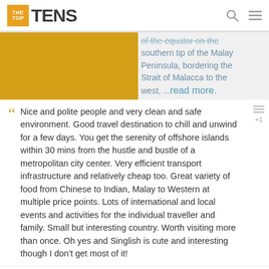THE TOP TENS
of the equator on the southern tip of the Malay Peninsula, bordering the Strait of Malacca to the west, ...read more.
Nice and polite people and very clean and safe environment. Good travel destination to chill and unwind for a few days. You get the serenity of offshore islands within 30 mins from the hustle and bustle of a metropolitan city center. Very efficient transport infrastructure and relatively cheap too. Great variety of food from Chinese to Indian, Malay to Western at multiple price points. Lots of international and local events and activities for the individual traveller and family. Small but interesting country. Worth visiting more than once. Oh yes and Singlish is cute and interesting though I don't get most of it!
Singapore has a multicultural and cosmopolitan environment compared to most of Asia. Proficient